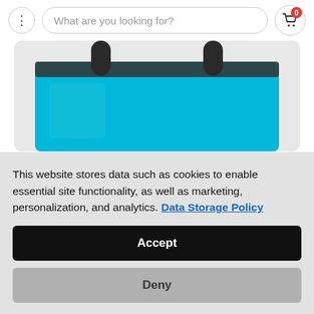What are you looking for?
[Figure (photo): A cyan/turquoise tote bag with black handles and zipper, partially visible at the top of the page on a light background.]
Holidays Gifts for Clients & Customers
Don't let your budget stop you from celebrating the
This website stores data such as cookies to enable essential site functionality, as well as marketing, personalization, and analytics. Data Storage Policy
Accept
Deny